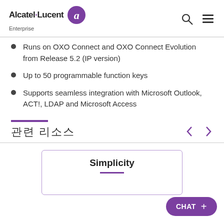Alcatel·Lucent Enterprise
Runs on OXO Connect and OXO Connect Evolution from Release 5.2 (IP version)
Up to 50 programmable function keys
Supports seamless integration with Microsoft Outlook, ACT!, LDAP and Microsoft Access
관련 리소스
[Figure (other): Simplicity card with purple border and purple underline]
CHAT +